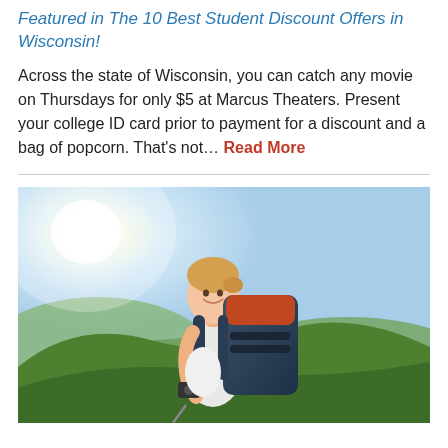Featured in The 10 Best Student Discount Offers in Wisconsin!
Across the state of Wisconsin, you can catch any movie on Thursdays for only $5 at Marcus Theaters. Present your college ID card prior to payment for a discount and a bag of popcorn. That's not… Read More
[Figure (photo): Young smiling woman with a large hiking backpack outdoors in a green hilly landscape, holding trekking poles and a camera]